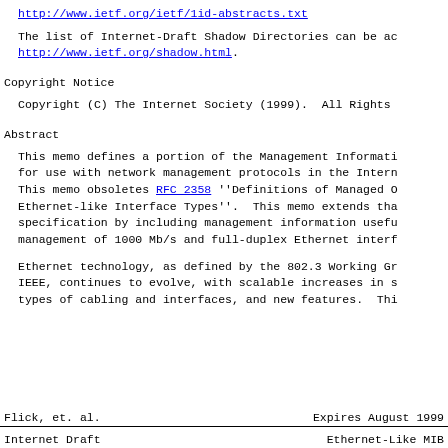http://www.ietf.org/ietf/1id-abstracts.txt
The list of Internet-Draft Shadow Directories can be ac http://www.ietf.org/shadow.html.
Copyright Notice
Copyright (C) The Internet Society (1999).  All Rights
Abstract
This memo defines a portion of the Management Informati for use with network management protocols in the Intern This memo obsoletes RFC 2358 ''Definitions of Managed O Ethernet-like Interface Types''.  This memo extends tha specification by including management information usefu management of 1000 Mb/s and full-duplex Ethernet interf
Ethernet technology, as defined by the 802.3 Working Gr IEEE, continues to evolve, with scalable increases in s types of cabling and interfaces, and new features.  Thi
Flick, et. al.          Expires August 1999
Internet Draft          Ethernet-Like MIB